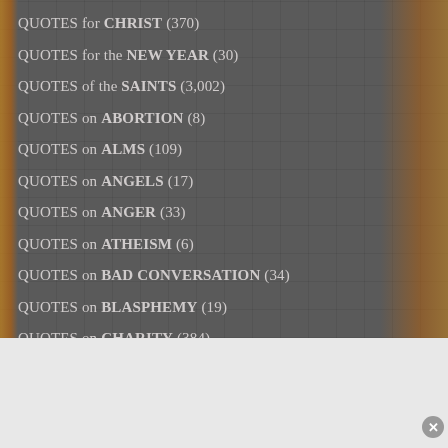QUOTES for CHRIST (370)
QUOTES for the NEW YEAR (30)
QUOTES of the SAINTS (3,002)
QUOTES on ABORTION (8)
QUOTES on ALMS (109)
QUOTES on ANGELS (17)
QUOTES on ANGER (33)
QUOTES on ATHEISM (6)
QUOTES on BAD CONVERSATION (34)
QUOTES on BLASPHEMY (19)
QUOTES on CHARITY (384)
Advertisements
[Figure (photo): Victoria's Secret advertisement banner with pink background, model on left, VS logo, 'SHOP THE COLLECTION' text, and 'SHOP NOW' button]